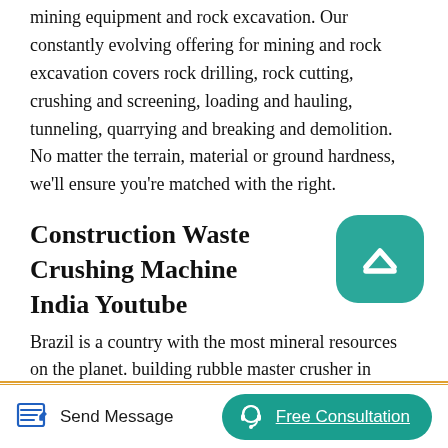mining equipment and rock excavation. Our constantly evolving offering for mining and rock excavation covers rock drilling, rock cutting, crushing and screening, loading and hauling, tunneling, quarrying and breaking and demolition. No matter the terrain, material or ground hardness, we'll ensure you're matched with the right.
Construction Waste Crushing Machine India Youtube
Brazil is a country with the most mineral resources on the planet. building rubble master crusher in Brazil. rubble crusher in ourinhos sao paulo brazil liming Machinery we are here to provide most professional information about rubble crusher in ourinhos sao paulo brazil.A world leader in rock processing